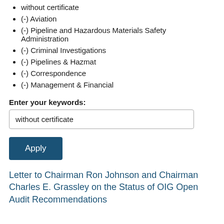without certificate
(-) Aviation
(-) Pipeline and Hazardous Materials Safety Administration
(-) Criminal Investigations
(-) Pipelines & Hazmat
(-) Correspondence
(-) Management & Financial
Enter your keywords:
without certificate
Apply
Letter to Chairman Ron Johnson and Chairman Charles E. Grassley on the Status of OIG Open Audit Recommendations